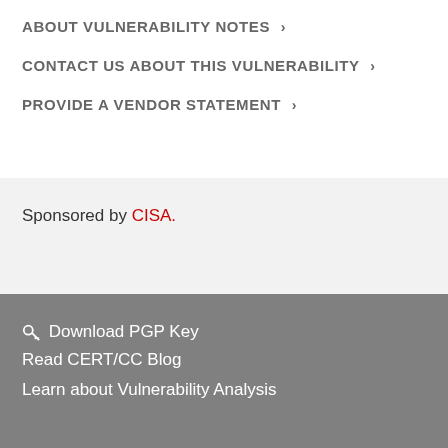ABOUT VULNERABILITY NOTES ›
CONTACT US ABOUT THIS VULNERABILITY ›
PROVIDE A VENDOR STATEMENT ›
Sponsored by CISA.
🔑 Download PGP Key
Read CERT/CC Blog
Learn about Vulnerability Analysis